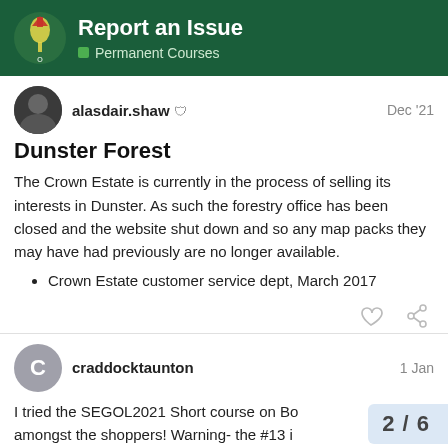Report an Issue — Permanent Courses
alasdair.shaw 🛡  Dec '21
Dunster Forest
The Crown Estate is currently in the process of selling its interests in Dunster. As such the forestry office has been closed and the website shut down and so any map packs they may have had previously are no longer available.
Crown Estate customer service dept, March 2017
craddocktaunton  1 Jan
I tried the SEGOL2021 Short course on Bo… amongst the shoppers! Warning- the #13 i…
2 / 6